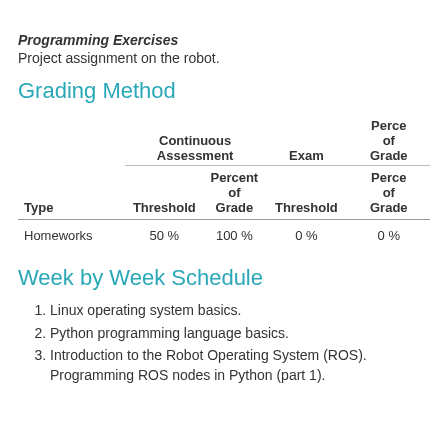Programming Exercises
Project assignment on the robot.
Grading Method
| Type | Threshold (Continuous Assessment) | Percent of Grade (Continuous Assessment) | Threshold (Exam) | Percent of Grade (Exam) |
| --- | --- | --- | --- | --- |
| Homeworks | 50 % | 100 % | 0 % | 0 % |
Week by Week Schedule
Linux operating system basics.
Python programming language basics.
Introduction to the Robot Operating System (ROS). Programming ROS nodes in Python (part 1).